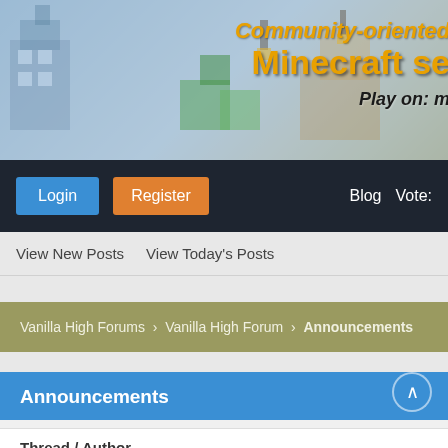[Figure (screenshot): Minecraft server banner image with game scene showing buildings and landscape in background]
Community-oriented Minecraft se
Play on: m
Login
Register
Blog
Vote:
View New Posts   View Today's Posts
Vanilla High Forums › Vanilla High Forum › Announcements
Announcements
Thread / Author